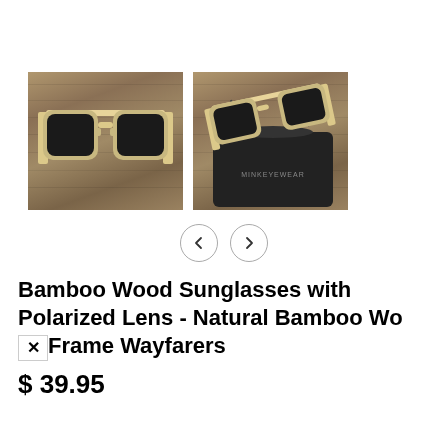[Figure (photo): Two product photos of bamboo wood sunglasses with polarized dark lenses and natural bamboo wayfarer frames. Left photo shows sunglasses front-facing on a wooden surface. Right photo shows sunglasses angled with a black drawstring pouch labeled 'MINKEYEWEAR'.]
Bamboo Wood Sunglasses with Polarized Lens - Natural Bamboo Wood Frame Wayfarers
$ 39.95